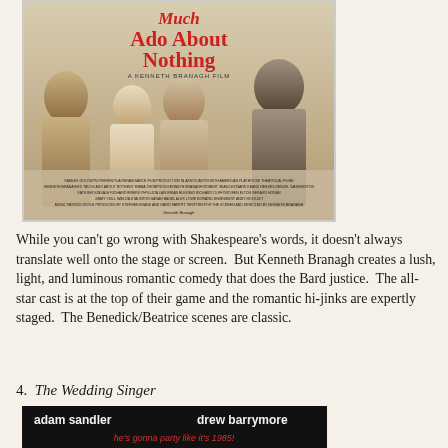[Figure (photo): Movie poster for 'Much Ado About Nothing', a Kenneth Branagh Film. Features four actors in period costume. Red title text overlaid on the image. Bottom contains film credits text.]
While you can't go wrong with Shakespeare's words, it doesn't always translate well onto the stage or screen.  But Kenneth Branagh creates a lush, light, and luminous romantic comedy that does the Bard justice.  The all-star cast is at the top of their game and the romantic hi-jinks are expertly staged.  The Benedick/Beatrice scenes are classic.
4.  The Wedding Singer
[Figure (photo): Top portion of The Wedding Singer movie poster showing 'adam sandler' and 'drew barrymore' in white text on black background, with red tagline text 'he's gonna party like it's 1985!']